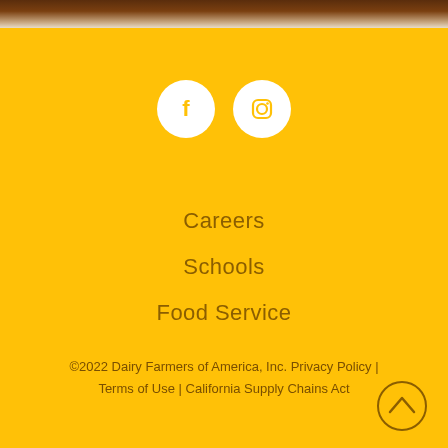[Figure (photo): Top portion of page showing a dark brown/warm image cropped at the top]
[Figure (other): Social media icons: Facebook and Instagram circles in white on yellow background]
Careers
Schools
Food Service
©2022 Dairy Farmers of America, Inc.  Privacy Policy | Terms of Use | California Supply Chains Act